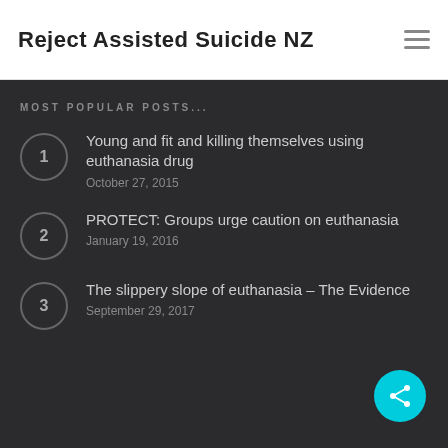Reject Assisted Suicide NZ
MOST POPULAR POSTS...
Young and fit and killing themselves using euthanasia drug
October 27, 2015
PROTECT: Groups urge caution on euthanasia
January 19, 2016
The slippery slope of euthanasia – The Evidence
September 29, 2017